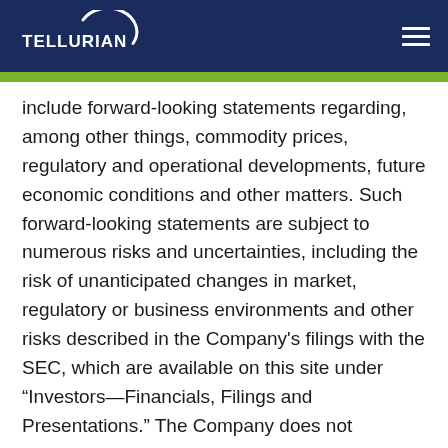TELLURIAN
include forward-looking statements regarding, among other things, commodity prices, regulatory and operational developments, future economic conditions and other matters. Such forward-looking statements are subject to numerous risks and uncertainties, including the risk of unanticipated changes in market, regulatory or business environments and other risks described in the Company’s filings with the SEC, which are available on this site under “Investors—Financials, Filings and Presentations.” The Company does not